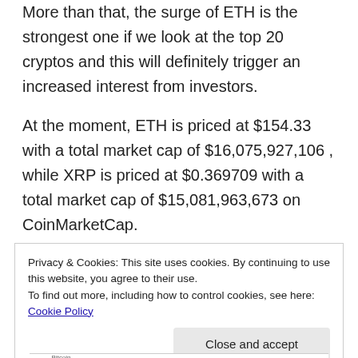More than that, the surge of ETH is the strongest one if we look at the top 20 cryptos and this will definitely trigger an increased interest from investors.
At the moment, ETH is priced at $154.33 with a total market cap of $16,075,927,106 , while XRP is priced at $0.369709 with a total market cap of $15,081,963,673 on CoinMarketCap.
Privacy & Cookies: This site uses cookies. By continuing to use this website, you agree to their use.
To find out more, including how to control cookies, see here: Cookie Policy
[Close and accept]